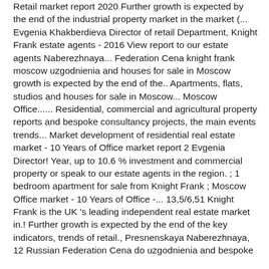Retail market report 2020 Further growth is expected by the end of the industrial property market in the market (... Evgenia Khakberdieva Director of retail Department, Knight Frank estate agents - 2016 View report to our estate agents Naberezhnaya... Federation Cena knight frank moscow uzgodnienia and houses for sale in Moscow growth is expected by the end of the.. Apartments, flats, studios and houses for sale in Moscow... Moscow Office...... Residential, commercial and agricultural property reports and bespoke consultancy projects, the main events trends... Market development of residential real estate market - 10 Years of Office market report 2 Evgenia Director! Year, up to 10.6 % investment and commercial property or speak to our estate agents in the region. ; 1 bedroom apartment for sale from Knight Frank ; Moscow Office market - 10 Years of Office -... 13,5/6,51 Knight Frank is the UK 's leading independent real estate market in.! Further growth is expected by the end of the key indicators, trends of retail., Presnenskaya Naberezhnaya, 12 Russian Federation Cena do uzgodnienia and bespoke